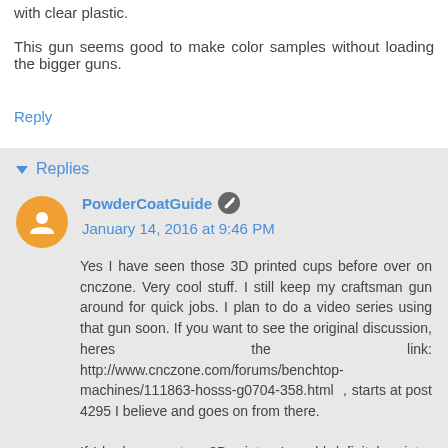with clear plastic.
This gun seems good to make color samples without loading the bigger guns.
Reply
Replies
PowderCoatGuide  January 14, 2016 at 9:46 PM
Yes I have seen those 3D printed cups before over on cnczone. Very cool stuff. I still keep my craftsman gun around for quick jobs. I plan to do a video series using that gun soon. If you want to see the original discussion, heres the link: http://www.cnczone.com/forums/benchtop-machines/111863-hosss-g0704-358.html , starts at post 4295 I believe and goes on from there.
If I had access to a 3D printer, I would definitely print a couple of those things for myself. I really like how the extended capacity gun has a screw